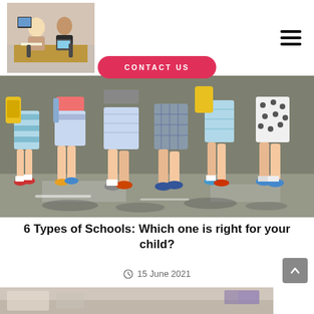[Figure (photo): Logo image: two women sitting at a desk with a tablet, consulting together in an office setting]
[Figure (other): Hamburger menu icon (three horizontal lines)]
[Figure (other): CONTACT US button (pink/red rounded rectangle)]
[Figure (photo): Main article hero image: group of school children walking, seen from waist down, wearing colorful shorts and carrying backpacks]
6 Types of Schools: Which one is right for your child?
15 June 2021
[Figure (photo): Partial preview of another article image at the bottom of the page]